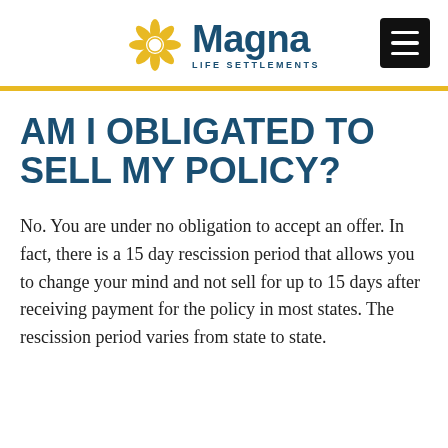[Figure (logo): Magna Life Settlements logo with golden sunflower/star icon and dark teal wordmark reading 'Magna LIFE SETTLEMENTS']
AM I OBLIGATED TO SELL MY POLICY?
No. You are under no obligation to accept an offer. In fact, there is a 15 day rescission period that allows you to change your mind and not sell for up to 15 days after receiving payment for the policy in most states. The rescission period varies from state to state.